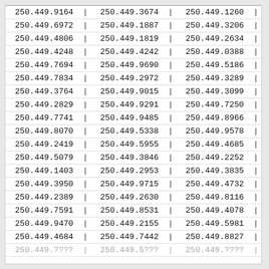| 250.449.9164 | 250.449.3674 | 250.449.1260 |
| 250.449.6972 | 250.449.1887 | 250.449.3206 |
| 250.449.4806 | 250.449.1819 | 250.449.2634 |
| 250.449.4248 | 250.449.4242 | 250.449.0388 |
| 250.449.7694 | 250.449.9690 | 250.449.5186 |
| 250.449.7834 | 250.449.2972 | 250.449.3289 |
| 250.449.3764 | 250.449.9015 | 250.449.3099 |
| 250.449.2829 | 250.449.9291 | 250.449.7250 |
| 250.449.7741 | 250.449.9485 | 250.449.8966 |
| 250.449.8070 | 250.449.5338 | 250.449.9578 |
| 250.449.2419 | 250.449.5955 | 250.449.4685 |
| 250.449.5079 | 250.449.3846 | 250.449.2252 |
| 250.449.1403 | 250.449.2953 | 250.449.3835 |
| 250.449.3950 | 250.449.9715 | 250.449.4732 |
| 250.449.2389 | 250.449.2630 | 250.449.8116 |
| 250.449.7591 | 250.449.8531 | 250.449.4078 |
| 250.449.9470 | 250.449.2155 | 250.449.5981 |
| 250.449.4684 | 250.449.7442 | 250.449.8827 |
| 250.449.??? | 250.449.5??? | 250.449.???? |